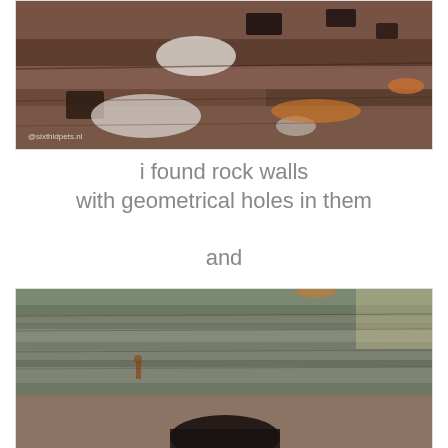[Figure (photo): Close-up photograph of a rocky cliff wall showing brownish-red and grey rock surface with rectangular geometric holes/niches carved or eroded into it, with white and orange lichen patches visible. A watermark reads '@sixthidpets.nl'.]
i found rock walls
with geometrical holes in them
and
[Figure (photo): Photograph of layered grey-green rock formations with a cave or hollow opening visible at the bottom center of the image. The rock layers are horizontally stratified.]